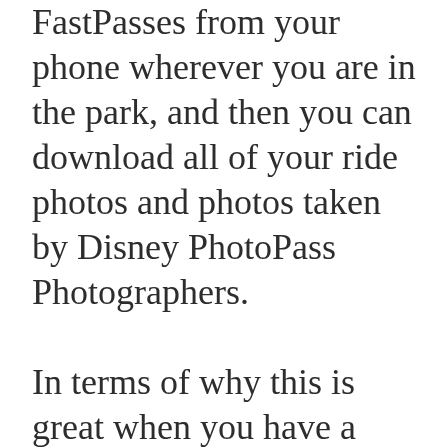FastPasses from your phone wherever you are in the park, and then you can download all of your ride photos and photos taken by Disney PhotoPass Photographers.

In terms of why this is great when you have a baby in tow, it helps shorten line time, makes it so you're not splitting up or running